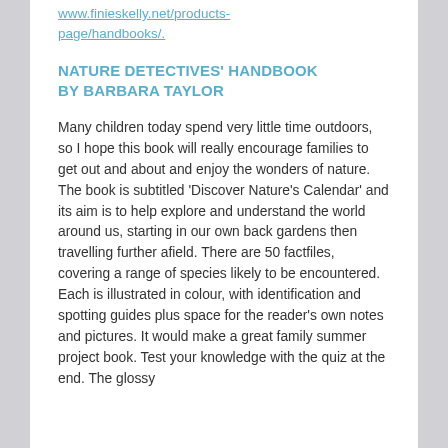www.finieskelly.net/products-page/handbooks/.
NATURE DETECTIVES' HANDBOOK BY BARBARA TAYLOR
Many children today spend very little time outdoors, so I hope this book will really encourage families to get out and about and enjoy the wonders of nature. The book is subtitled 'Discover Nature's Calendar' and its aim is to help explore and understand the world around us, starting in our own back gardens then travelling further afield. There are 50 factfiles, covering a range of species likely to be encountered. Each is illustrated in colour, with identification and spotting guides plus space for the reader's own notes and pictures. It would make a great family summer project book. Test your knowledge with the quiz at the end. The glossy